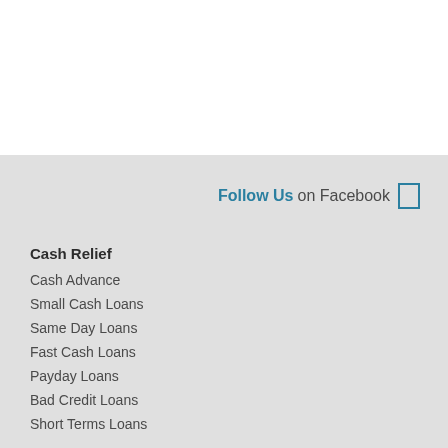Follow Us on Facebook
Cash Relief
Cash Advance
Small Cash Loans
Same Day Loans
Fast Cash Loans
Payday Loans
Bad Credit Loans
Short Terms Loans